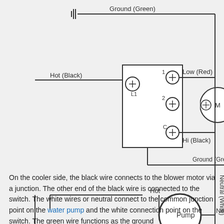[Figure (schematic): Electrical wiring diagram showing connections for a cooler/pump system. Components include a ground (green) wire at top, a speed switch with L1 input and terminals 1, 2, C for Low (Red), Hi (Black), and Ground (Green) connections, a Pump (circle) with Hot and Neutral leads, and a Wire Nut connector. A motor (M) is partially visible at right with Neutral (White) label.]
On the cooler side, the black wire connects to the blower motor via a junction. The other end of the black wire is connected to the switch. The white wires or neutral connect to the common junction point on the water pump and the white connection point on the switch. The green wire functions as the ground